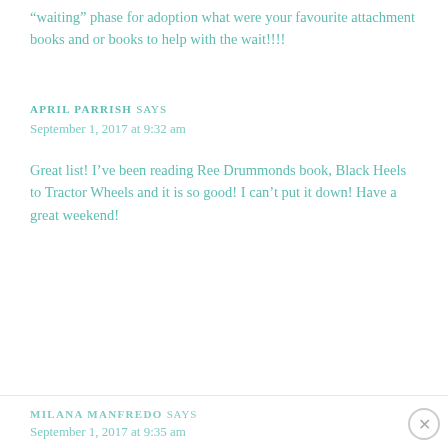“waiting” phase for adoption what were your favourite attachment books and or books to help with the wait!!!!
APRIL PARRISH SAYS
September 1, 2017 at 9:32 am
Great list! I’ve been reading Ree Drummonds book, Black Heels to Tractor Wheels and it is so good! I can’t put it down! Have a great weekend!
MILANA MANFREDO SAYS
September 1, 2017 at 9:35 am